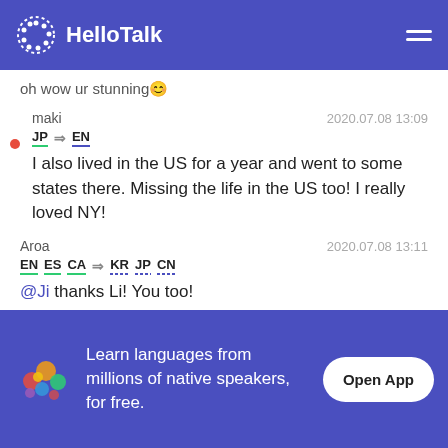HelloTalk
oh wow ur stunning 😊
maki  2020.07.08 13:09
JP → EN
I also lived in the US for a year and went to some states there. Missing the life in the US too! I really loved NY!
Aroa  2020.07.08 13:11
EN ES CA → KR JP CN
@Ji thanks Li! You too!
Aroa  2020.07.08 13:11
Learn languages from millions of native speakers, for free.
Open App